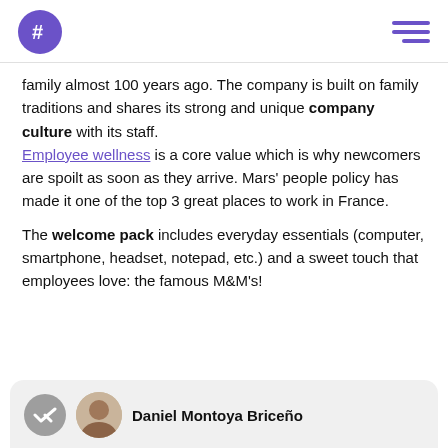family almost 100 years ago. The company is built on family traditions and shares its strong and unique company culture with its staff. Employee wellness is a core value which is why newcomers are spoilt as soon as they arrive. Mars' people policy has made it one of the top 3 great places to work in France.

The welcome pack includes everyday essentials (computer, smartphone, headset, notepad, etc.) and a sweet touch that employees love: the famous M&M's!
Daniel Montoya Briceño